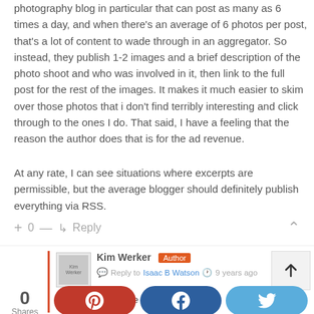photography blog in particular that can post as many as 6 times a day, and when there's an average of 6 photos per post, that's a lot of content to wade through in an aggregator. So instead, they publish 1-2 images and a brief description of the photo shoot and who was involved in it, then link to the full post for the rest of the images. It makes it much easier to skim over those photos that i don't find terribly interesting and click through to the ones I do. That said, I have a feeling that the reason the author does that is for the ad revenue.
At any rate, I can see situations where excerpts are permissible, but the average blogger should definitely publish everything via RSS.
+ 0 — ↳ Reply
Kim Werker Author
Reply to Isaac B Watson · 9 years ago
You make so much on ... blogger ... d this ...